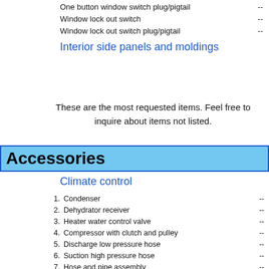One button window switch plug/pigtail  --
Window lock out switch  --
Window lock out switch plug/pigtail  --
Interior side panels and moldings
These are the most requested items. Feel free to inquire about items not listed.
Accessories
Climate control
1. Condenser  --
2. Dehydrator receiver  --
3. Heater water control valve  --
4. Compressor with clutch and pulley  --
5. Discharge low pressure hose  --
6. Suction high pressure hose  --
7. Hose and pipe assembly  --
8. Servo valve  --
9. Suction throttling valve  --
10. Power servo .......($35.00 core charge not included)  --